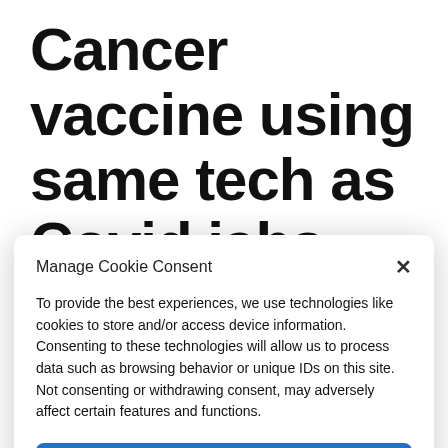Cancer vaccine using same tech as Covid jabs could be a 'game-
Manage Cookie Consent
To provide the best experiences, we use technologies like cookies to store and/or access device information. Consenting to these technologies will allow us to process data such as browsing behavior or unique IDs on this site. Not consenting or withdrawing consent, may adversely affect certain features and functions.
Accept